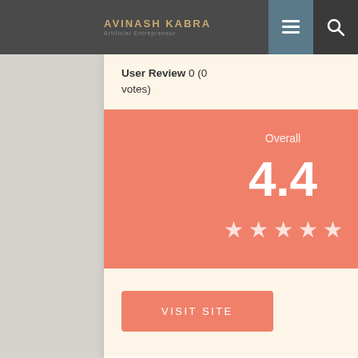AVINASH KABRA | Artificial Entrepreneur
User Review 0 (0 votes)
[Figure (infographic): Overall rating display showing score 4.4 with 5 stars on coral/salmon background]
VISIT SITE